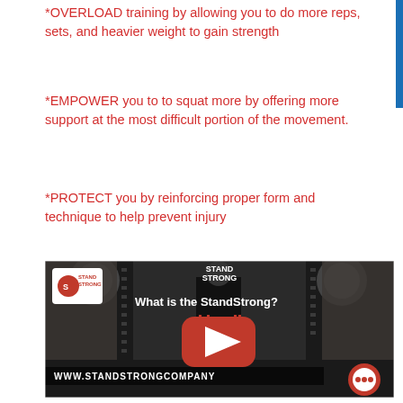*OVERLOAD training by allowing you to do more reps, sets, and heavier weight to gain strength
*EMPOWER you to to squat more by offering more support at the most difficult portion of the movement.
*PROTECT you by reinforcing proper form and technique to help prevent injury
[Figure (screenshot): YouTube video thumbnail showing a person standing in a squat rack wearing black and red StandStrong gear. Title reads 'What is the StandStrong?' with a red YouTube play button in the center. Bottom text shows 'WWW.STANDSTRONGCOMPANY' with a chat bubble icon in the bottom right corner.]